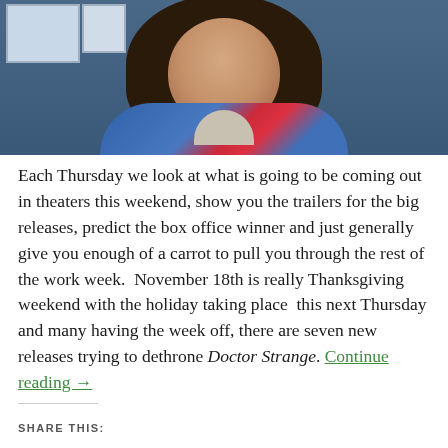[Figure (photo): A young woman with long dark wavy hair looking at the camera, wearing a blue and red jacket. Background appears to be an indoor setting with blue walls.]
Each Thursday we look at what is going to be coming out in theaters this weekend, show you the trailers for the big releases, predict the box office winner and just generally give you enough of a carrot to pull you through the rest of the work week.  November 18th is really Thanksgiving weekend with the holiday taking place  this next Thursday and many having the week off, there are seven new releases trying to dethrone Doctor Strange. Continue reading →
SHARE THIS: